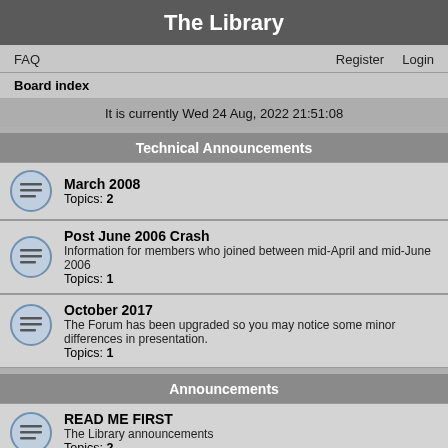The Library
FAQ   Register   Login
Board index
It is currently Wed 24 Aug, 2022 21:51:08
Technical Announcements
March 2008
Topics: 2
Post June 2006 Crash
Information for members who joined between mid-April and mid-June 2006
Topics: 1
October 2017
The Forum has been upgraded so you may notice some minor differences in presentation.
Topics: 1
Announcements
READ ME FIRST
The Library announcements
Topics: 2
October 2005 Rules Change
All postings are now restricted to members-only